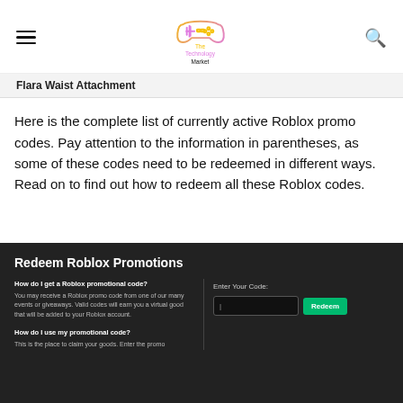The Technology Market — navigation header with hamburger menu and search icon
Hard Waist Attachment
Here is the complete list of currently active Roblox promo codes. Pay attention to the information in parentheses, as some of these codes need to be redeemed in different ways. Read on to find out how to redeem all these Roblox codes.
[Figure (screenshot): Roblox website dark section showing 'Redeem Roblox Promotions' with FAQ about promo codes and a code entry field with a green Redeem button.]